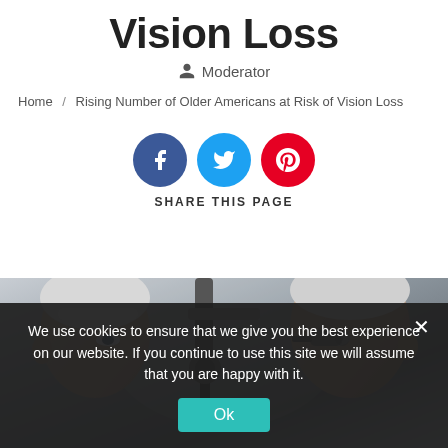Vision Loss
Moderator
Home / Rising Number of Older Americans at Risk of Vision Loss
[Figure (infographic): Three social media sharing buttons: Facebook (blue circle with f), Twitter (cyan circle with bird icon), Pinterest (red circle with P icon), with label SHARE THIS PAGE below]
[Figure (photo): Photo of older man having an eye exam with medical equipment, ophthalmologist visible on the right]
We use cookies to ensure that we give you the best experience on our website. If you continue to use this site we will assume that you are happy with it.
Ok